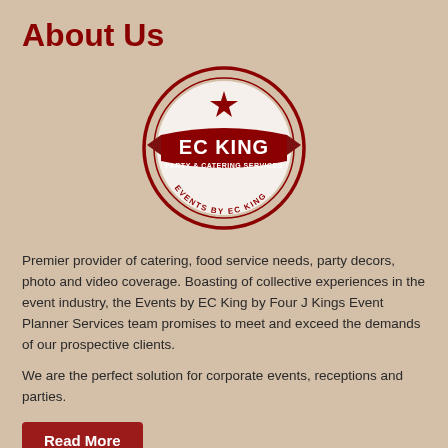About Us
[Figure (logo): EC King Party & Catering Services — Events by EC King circular logo with star and ribbon banner, dark red on white]
Premier provider of catering, food service needs, party decors, photo and video coverage. Boasting of collective experiences in the event industry, the Events by EC King by Four J Kings Event Planner Services team promises to meet and exceed the demands of our prospective clients.
We are the perfect solution for corporate events, receptions and parties.
Read More
Gallery
RENDEZVOUS EVENT VENUE & BUFFET